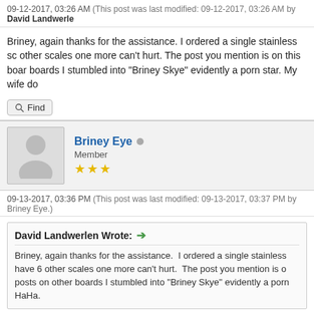09-12-2017, 03:26 AM (This post was last modified: 09-12-2017, 03:26 AM by David Landwerle
Briney, again thanks for the assistance. I ordered a single stainless sc other scales one more can't hurt. The post you mention is on this boar boards I stumbled into "Briney Skye" evidently a porn star. My wife do
Find
Briney Eye • Member ★★★
09-13-2017, 03:36 PM (This post was last modified: 09-13-2017, 03:37 PM by Briney Eye.)
David Landwerlen Wrote: → Briney, again thanks for the assistance. I ordered a single stainless have 6 other scales one more can't hurt. The post you mention is o posts on other boards I stumbled into "Briney Skye" evidently a porn HaHa.
The stainless scales are more solid. The aluminum scales have more